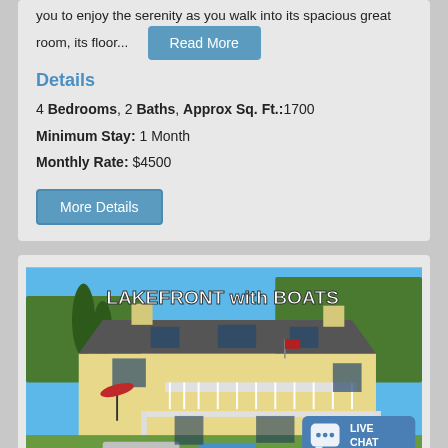you to enjoy the serenity as you walk into its spacious great room, its floor...
Read More
Details
4 Bedrooms, 2 Baths, Approx Sq. Ft.:1700
Minimum Stay: 1 Month
Monthly Rate: $4500
More Details
[Figure (photo): Lakefront house with boats, large multi-story yellow home with white railings and decks near water, text overlay reading LAKEFRONT with BOATS, live chat badge in bottom right corner]